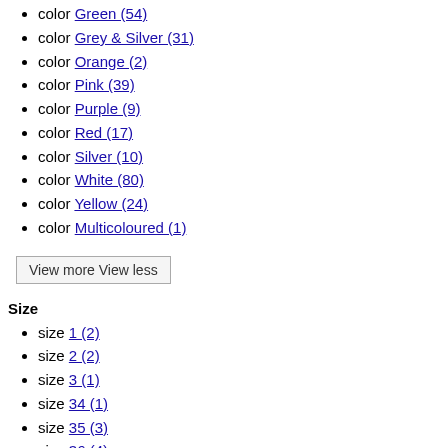color Green (54)
color Grey & Silver (31)
color Orange (2)
color Pink (39)
color Purple (9)
color Red (17)
color Silver (10)
color White (80)
color Yellow (24)
color Multicoloured (1)
View more View less
Size
size 1 (2)
size 2 (2)
size 3 (1)
size 34 (1)
size 35 (3)
size 36 (4)
size 37 (3)
size 38 (4)
size 39 (4)
size 40 (4)